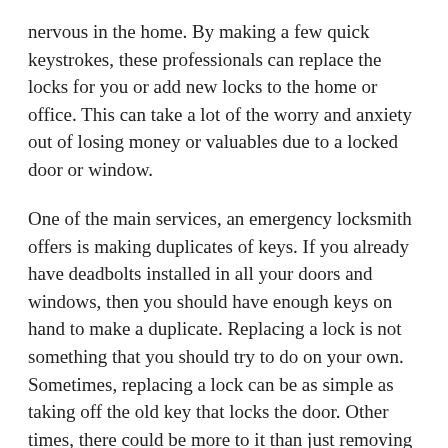nervous in the home. By making a few quick keystrokes, these professionals can replace the locks for you or add new locks to the home or office. This can take a lot of the worry and anxiety out of losing money or valuables due to a locked door or window.
One of the main services, an emergency locksmith offers is making duplicates of keys. If you already have deadbolts installed in all your doors and windows, then you should have enough keys on hand to make a duplicate. Replacing a lock is not something that you should try to do on your own. Sometimes, replacing a lock can be as simple as taking off the old key that locks the door. Other times, there could be more to it than just removing the key. In fact, you might be dealing with a broken lock or damage to the lock itself.
With a broken lock, it can sometimes be necessary to replace the entire lock. In most cases, this will involve finding another locksmith that offers this type of service and replacing all the